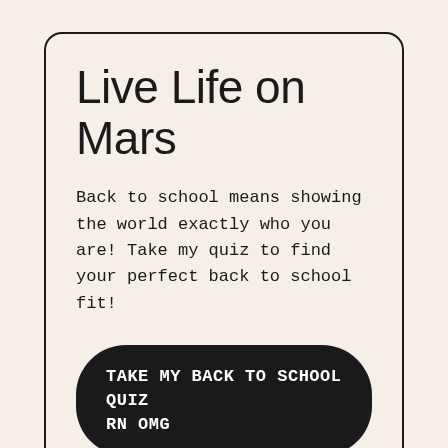Live Life on Mars
Back to school means showing the world exactly who you are! Take my quiz to find your perfect back to school fit!
TAKE MY BACK TO SCHOOL QUIZ RN OMG
[Figure (photo): Bottom portion of a lifestyle/fashion promotional image showing a blurred bokeh background with warm pink and gold tones, a cartoon cat doodle with a heart, a raised hand/arm, a magnifying glass search icon button (top left), and a dark circular chat button (top right).]